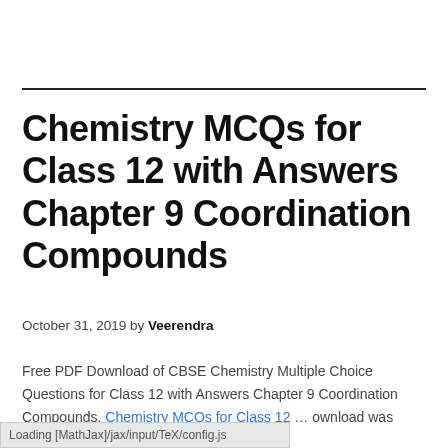Chemistry MCQs for Class 12 with Answers Chapter 9 Coordination Compounds
October 31, 2019 by Veerendra
Free PDF Download of CBSE Chemistry Multiple Choice Questions for Class 12 with Answers Chapter 9 Coordination Compounds. Chemistry MCQs for Class 12 … Download was Prepared